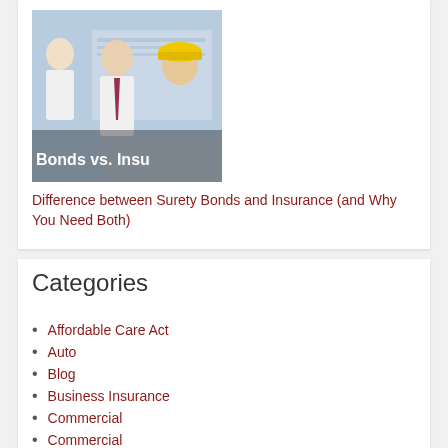[Figure (photo): Photo of three professionals including a person in a yellow hard hat and others in business attire, with overlay text 'Bonds vs. Insu']
Difference between Surety Bonds and Insurance (and Why You Need Both)
Categories
Affordable Care Act
Auto
Blog
Business Insurance
Commercial
Commercial
Compliance